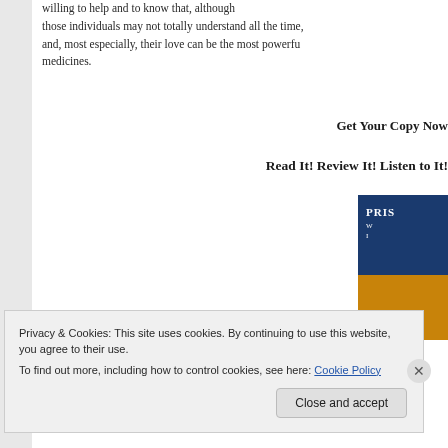willing to help and to know that, although those individuals may not totally understand all the time, and, most especially, their love can be the most powerful medicines.
Get Your Copy Now
Read It! Review It! Listen to It!
[Figure (photo): Book cover showing text starting with 'PRIS' on dark blue and orange background]
Privacy & Cookies: This site uses cookies. By continuing to use this website, you agree to their use.
To find out more, including how to control cookies, see here: Cookie Policy

Close and accept